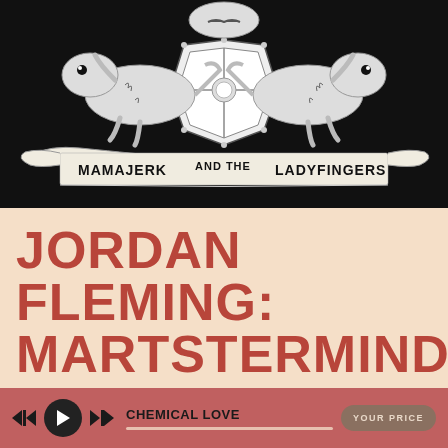[Figure (illustration): Black and white heraldic crest logo for 'Mamajerk and the Ladyfingers' featuring two lizards/iguanas flanking a shield with various symbols, with a banner ribbon at the bottom reading 'MAMAJERK AND THE LADYFINGERS']
JORDAN FLEMING: MARTSTERMIND!
CHEMICAL LOVE | YOUR PRICE